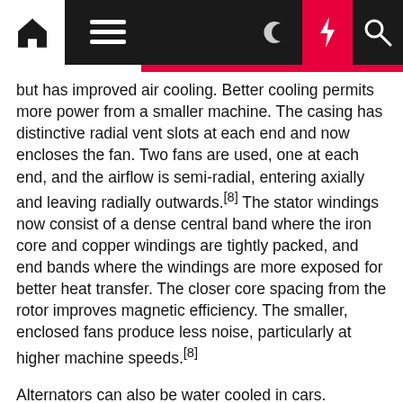Navigation bar with home, menu, moon, bolt, and search icons
but has improved air cooling. Better cooling permits more power from a smaller machine. The casing has distinctive radial vent slots at each end and now encloses the fan. Two fans are used, one at each end, and the airflow is semi-radial, entering axially and leaving radially outwards.[8] The stator windings now consist of a dense central band where the iron core and copper windings are tightly packed, and end bands where the windings are more exposed for better heat transfer. The closer core spacing from the rotor improves magnetic efficiency. The smaller, enclosed fans produce less noise, particularly at higher machine speeds.[8]
Alternators can also be water cooled in cars.
Larger vehicles may have salient pole alternators similar to larger machines.[9]